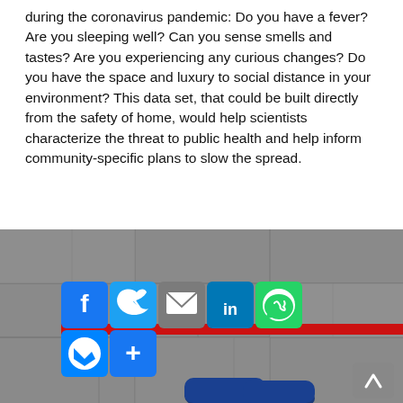during the coronavirus pandemic: Do you have a fever? Are you sleeping well? Can you sense smells and tastes? Are you experiencing any curious changes? Do you have the space and luxury to social distance in your environment? This data set, that could be built directly from the safety of home, would help scientists characterize the threat to public health and help inform community-specific plans to slow the spread.
[Figure (photo): Photo of concrete floor/ground viewed from above with social media sharing buttons overlay including Facebook, Twitter, Email, LinkedIn, WhatsApp, Messenger, and a plus button. A pair of blue sneakers is partially visible at the bottom. A red highlight bar runs behind the social icons. A scroll-to-top arrow button appears in the bottom right.]